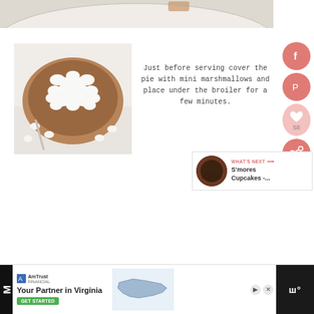[Figure (photo): Top portion of a white plate, partially visible at the top of the page]
[Figure (photo): A pie dish filled with white mini marshmallows on a light surface with a few scattered marshmallows around it]
Just before serving cover the pie with mini marshmallows and place under the broiler for a few minutes.
[Figure (infographic): Social media sidebar with Facebook, Pinterest, heart/like (58), and share buttons in salmon/pink circles]
[Figure (infographic): What's Next panel showing a thumbnail and text: S'mores Cupcakes -...]
[Figure (infographic): Advertisement for AmTrust Financial - 'Your Partner in Virginia' with map graphic and Get Started button]